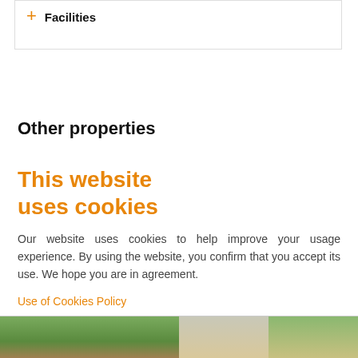+ Facilities
Other properties
This website uses cookies
Our website uses cookies to help improve your usage experience. By using the website, you confirm that you accept its use. We hope you are in agreement.
Use of Cookies Policy
Accept
[Figure (photo): Bottom strip photograph showing outdoor property/landscape scene with trees and sandy ground]